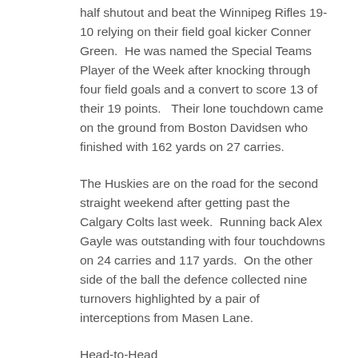half shutout and beat the Winnipeg Rifles 19-10 relying on their field goal kicker Conner Green.  He was named the Special Teams Player of the Week after knocking through four field goals and a convert to score 13 of their 19 points.  Their lone touchdown came on the ground from Boston Davidsen who finished with 162 yards on 27 carries.
The Huskies are on the road for the second straight weekend after getting past the Calgary Colts last week.  Running back Alex Gayle was outstanding with four touchdowns on 24 carries and 117 yards.  On the other side of the ball the defence collected nine turnovers highlighted by a pair of interceptions from Masen Lane.
Head-to-Head